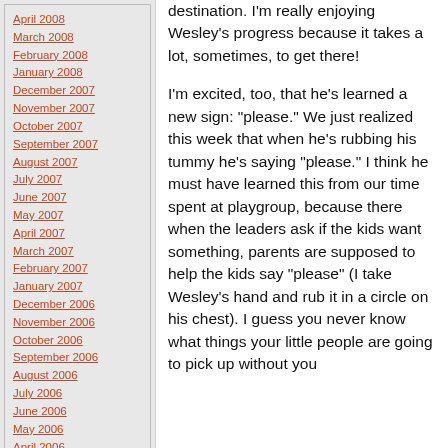April 2008
March 2008
February 2008
January 2008
December 2007
November 2007
October 2007
September 2007
August 2007
July 2007
June 2007
May 2007
April 2007
March 2007
February 2007
January 2007
December 2006
November 2006
October 2006
September 2006
August 2006
July 2006
June 2006
May 2006
April 2006
March 2006
February 2006
January 2006
December 2005
November 2005
October 2005
August 2005
Links
destination. I'm really enjoying Wesley's progress because it takes a lot, sometimes, to get there!
I'm excited, too, that he's learned a new sign: "please." We just realized this week that when he's rubbing his tummy he's saying "please." I think he must have learned this from our time spent at playgroup, because there when the leaders ask if the kids want something, parents are supposed to help the kids say "please" (I take Wesley's hand and rub it in a circle on his chest). I guess you never know what things your little people are going to pick up without you